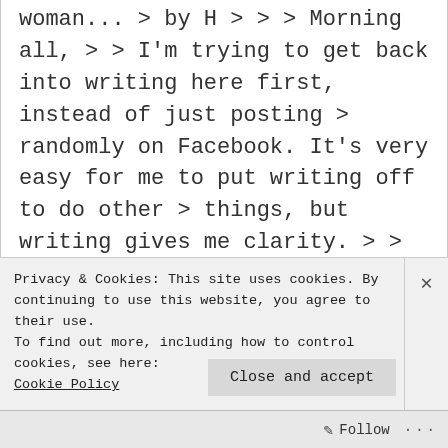woman... > by H > > > Morning all, > > I'm trying to get back into writing here first, instead of just posting > randomly on Facebook. It's very easy for me to put writing off to do other > things, but writing gives me clarity. > > Yesterday was quite the clusterf*uck of random crap, but for the sake of > brevity (and the point of this post) I had to drop and zoom my butt over to > the animal
Privacy & Cookies: This site uses cookies. By continuing to use this website, you agree to their use.
To find out more, including how to control cookies, see here: Cookie Policy
Close and accept
Follow ...